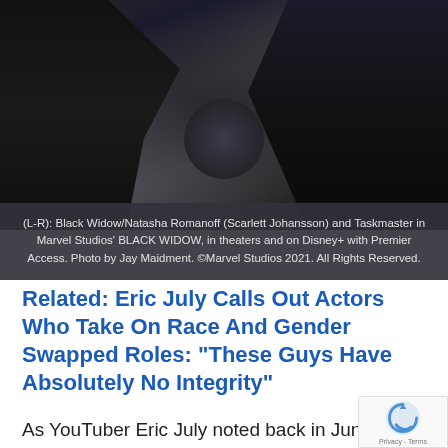[Figure (photo): Dark action scene photo showing figures crouching/fighting, likely Black Widow and Taskmaster from Marvel's Black Widow film]
(L-R): Black Widow/Natasha Romanoff (Scarlett Johansson) and Taskmaster in Marvel Studios' BLACK WIDOW, in theaters and on Disney+ with Premier Access. Photo by Jay Maidment. ©Marvel Studios 2021. All Rights Reserved.
Related: Eric July Calls Out Actors Who Take On Race And Gender Swapped Roles: “These Guys Have Absolutely No Integrity”
As YouTuber Eric July noted back in June, actors like Kurylenko who take on race and gender swapped roles “have absolutely no integrity.”